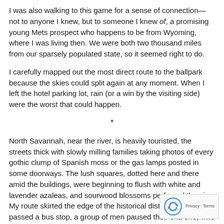I was also walking to this game for a sense of connection—not to anyone I knew, but to someone I knew of, a promising young Mets prospect who happens to be from Wyoming, where I was living then. We were both two thousand miles from our sparsely populated state, so it seemed right to do.
I carefully mapped out the most direct route to the ballpark because the skies could split again at any moment. When I left the hotel parking lot, rain (or a win by the visiting side) were the worst that could happen.
*
North Savannah, near the river, is heavily touristed, the streets thick with slowly milling families taking photos of every gothic clump of Spanish moss or the gas lamps posted in some doorways. The lush squares, dotted here and there amid the buildings, were beginning to flush with white and lavender azaleas, and sourwood blossoms perfumed the air. My route skirted the edge of the historical district, and as I passed a bus stop, a group of men paused their cha one, who must have been near sixty, said, "How are you, yo lady?"